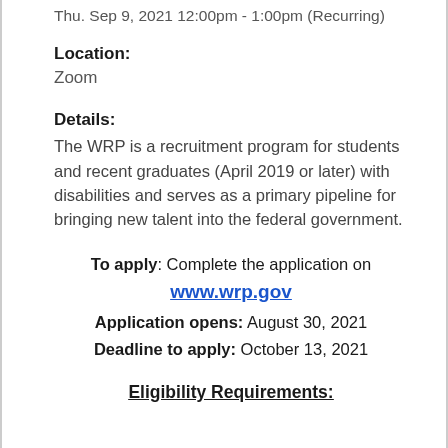Thu. Sep 9, 2021 12:00pm - 1:00pm (Recurring)
Location:
Zoom
Details:
The WRP is a recruitment program for students and recent graduates (April 2019 or later) with disabilities and serves as a primary pipeline for bringing new talent into the federal government.
To apply: Complete the application on www.wrp.gov
Application opens: August 30, 2021
Deadline to apply: October 13, 2021
Eligibility Requirements: